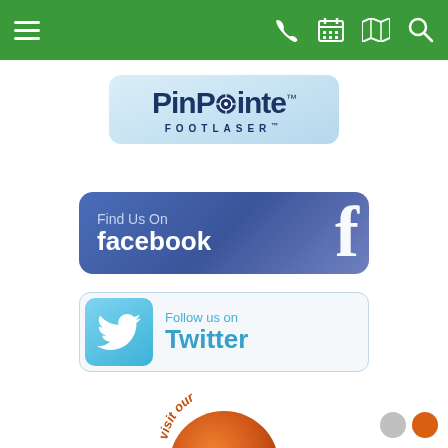Navigation bar with menu, phone, calendar, map, and search icons
[Figure (logo): PinPointe FOOTLASER logo on light blue rounded rectangle badge]
[Figure (logo): Find Us On facebook button — dark blue/purple rounded rectangle with Facebook f icon]
[Figure (logo): Follow us on Twitter button — white/light blue rounded rectangle with Twitter bird icon]
[Figure (logo): Visit our blog button — orange circle with white 'blog' text and arc text 'visit our']